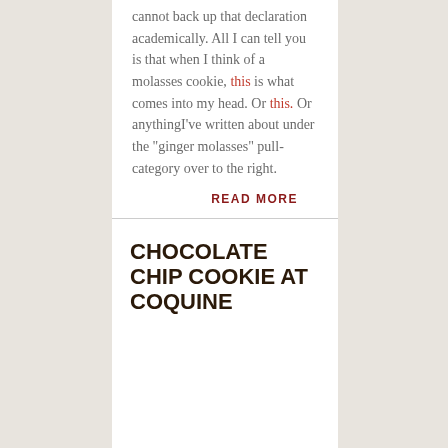cannot back up that declaration academically. All I can tell you is that when I think of a molasses cookie, this is what comes into my head. Or this. Or anythingI've written about under the "ginger molasses" pull-category over to the right.
READ MORE
CHOCOLATE CHIP COOKIE AT COQUINE